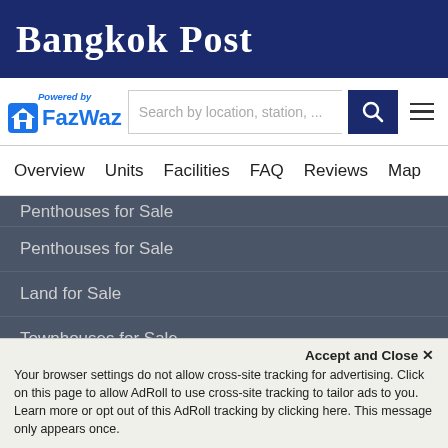Bangkok Post
[Figure (logo): FazWaz logo with 'Powered by' text and house icon]
Search by location, station, ...
Overview  Units  Facilities  FAQ  Reviews  Map
Penthouses for Sale
Land for Sale
Townhouses for Sale
Apartments for Sale
More
Nong Prue Property Types
Buy Condos
Accept and Close ✕
Your browser settings do not allow cross-site tracking for advertising. Click on this page to allow AdRoll to use cross-site tracking to tailor ads to you. Learn more or opt out of this AdRoll tracking by clicking here. This message only appears once.